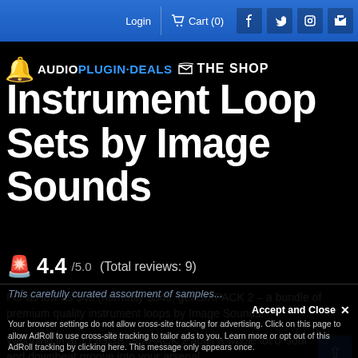Login  Cart (0)  [Facebook] [Twitter] [Instagram] [YouTube]
[Figure (logo): AudioPlugin Deals The Shop logo with bell icon]
Instrument Loop Sets by Image Sounds
🚨 4.4/5.0  (Total reviews: 9)
For as low as $49 (normally $349, get SIXPACK 2 – a bundle of premium quality instrument loops by Image Sounds!
Weighing in at 11.89GB, SIXPACK 2 adds a whole lot o' soul and downbeat groove into your arsenal.
This carefully curated assortment of samples...
Accept and Close ✕
Your browser settings do not allow cross-site tracking for advertising. Click on this page to allow AdRoll to use cross-site tracking to tailor ads to you. Learn more or opt out of this AdRoll tracking by clicking here. This message only appears once.